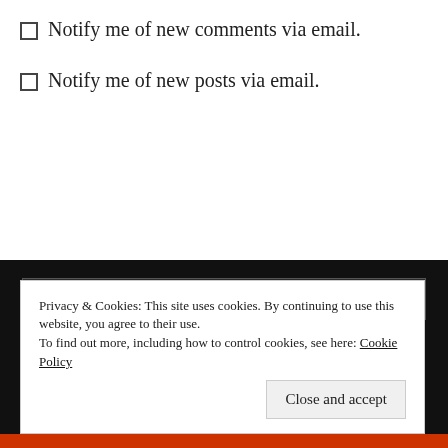Notify me of new comments via email.
Notify me of new posts via email.
Search ...
SUBSCRIBE (RSS)
RSS - Posts
RSS - Comments
Privacy & Cookies: This site uses cookies. By continuing to use this website, you agree to their use. To find out more, including how to control cookies, see here: Cookie Policy
Close and accept